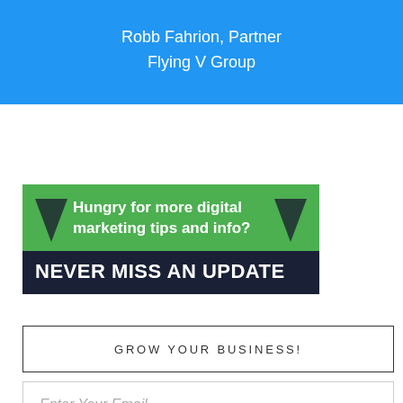Robb Fahrion, Partner
Flying V Group
[Figure (infographic): Green banner with two chevron/arrow icons and text 'Hungry for more digital marketing tips and info?' above a dark navy bar with bold white text 'NEVER MISS AN UPDATE']
GROW YOUR BUSINESS!
Enter Your Email